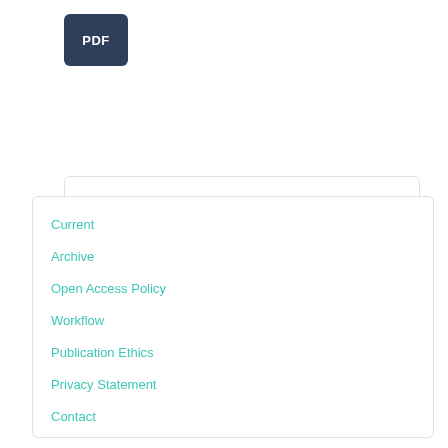[Figure (other): PDF button — dark navy blue rounded rectangle with white text 'PDF']
[Figure (other): Make a Submission button — grey-blue rounded rectangle with white text 'Make a Submission' inside a bordered box]
Current
Archive
Open Access Policy
Workflow
Publication Ethics
Privacy Statement
Contact